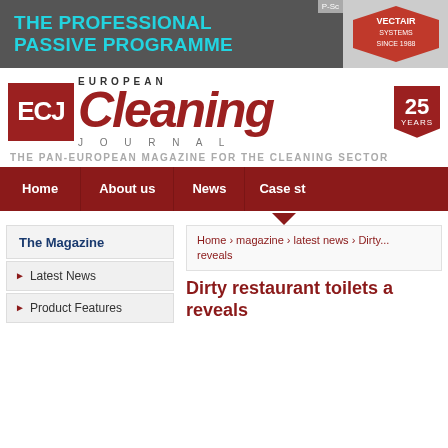[Figure (screenshot): Vectair Systems advertisement banner: dark grey background with cyan text 'THE PROFESSIONAL PASSIVE PROGRAMME' and Vectair Systems logo badge (red hexagon shape, Since 1988)]
[Figure (logo): ECJ European Cleaning Journal logo with red ECJ box, large italic red Cleaning word, JOURNAL text, 25 YEARS badge]
THE PAN-EUROPEAN MAGAZINE FOR THE CLEANING SECTOR
Home | About us | News | Case st...
The Magazine
Latest News
Product Features
Home › magazine › latest news › Dirty... reveals
Dirty restaurant toilets a... reveals